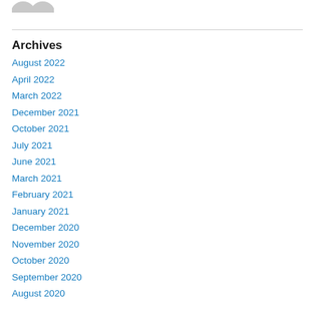[Figure (illustration): Partial avatar/profile icon graphic at top left]
Archives
August 2022
April 2022
March 2022
December 2021
October 2021
July 2021
June 2021
March 2021
February 2021
January 2021
December 2020
November 2020
October 2020
September 2020
August 2020